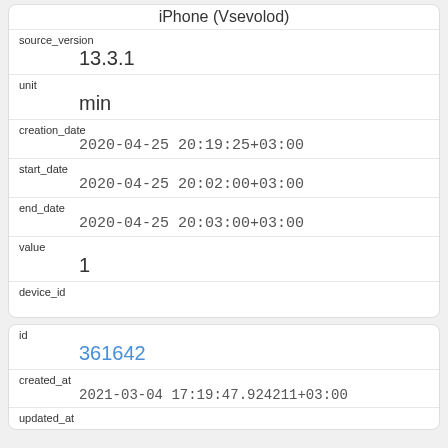| iPhone (Vsevolod) |
| source_version | 13.3.1 |
| unit | min |
| creation_date | 2020-04-25 20:19:25+03:00 |
| start_date | 2020-04-25 20:02:00+03:00 |
| end_date | 2020-04-25 20:03:00+03:00 |
| value | 1 |
| device_id |  |
| id | 361642 |
| created_at | 2021-03-04 17:19:47.924211+03:00 |
| updated_at |  |